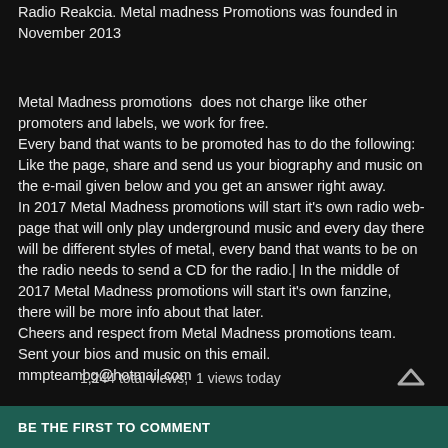Radio Reakcia. Metal madness Promotions was founded in November 2013
Metal Madness promotions  does not charge like other promoters and labels, we work for free.
Every band that wants to be promoted has to do the following: Like the page, share and send us your biography and music on the e-mail given below and you get an answer right away.
In 2017 Metal Madness promotions will start it’s own radio web-page that will only play underground music and every day there will be different styles of metal, every band that wants to be on the radio needs to send a CD for the radio.| In the middle of 2017 Metal Madness promotions will start it’s own fanzine, there will be more info about that later.
Cheers and respect from Metal Madness promotions team.
Sent your bios and music on this email.
mmpteambg@hotmail.com
1,244 total views,  1 views today
BE THE FIRST TO COMMENT